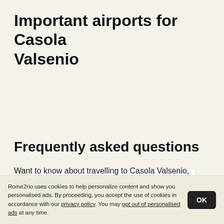Important airports for Casola Valsenio
Bologna Airport 42.9 km
Frequently asked questions
Want to know about travelling to Casola Valsenio, Italy? We have put together a list of the most frequently asked
Rome2rio uses cookies to help personalize content and show you personalised ads. By proceeding, you accept the use of cookies in accordance with our privacy policy. You may opt out of personalised ads at any time.